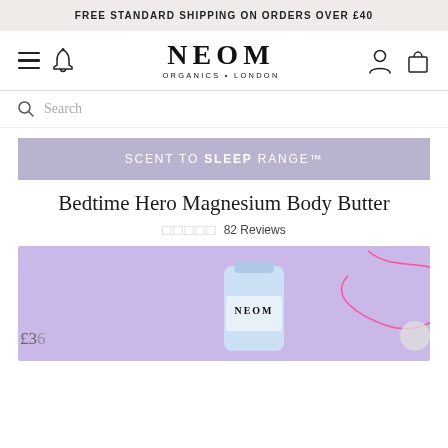FREE STANDARD SHIPPING ON ORDERS OVER £40
[Figure (logo): NEOM Organics London logo with hamburger menu, bell icon, user icon, and bag icon]
Search
SCENT TO SLEEP RANGE™
Bedtime Hero Magnesium Body Butter
82 Reviews
[Figure (photo): Product photo of NEOM Bedtime Hero Magnesium Body Butter tube on lavender purple background with pink swirl decoration]